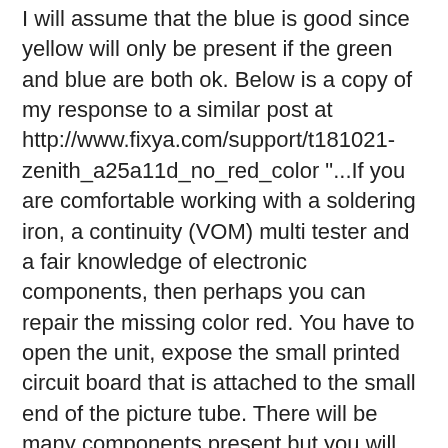I will assume that the blue is good since yellow will only be present if the green and blue are both ok. Below is a copy of my response to a similar post at http://www.fixya.com/support/t181021-zenith_a25a11d_no_red_color "...If you are comfortable working with a soldering iron, a continuity (VOM) multi tester and a fair knowledge of electronic components, then perhaps you can repair the missing color red. You have to open the unit, expose the small printed circuit board that is attached to the small end of the picture tube. There will be many components present but you will need to focus yourself on three (3) transistors that are bigger than the others sometimes with an aluminum heatsink. It is also possible that instead of 3 transistors you will have one power IC. In any case these control and provide the drive for the 3 colors of your picture tube: red, green and blue. One of them is either dead or suffers from cold solder to any or all of its pins/legs. You have to visually inspect the solder joints of these big